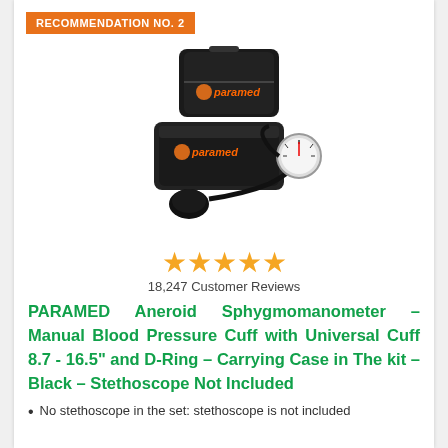RECOMMENDATION NO. 2
[Figure (photo): Paramed aneroid sphygmomanometer set in black with carrying case, blood pressure cuff, bulb, and gauge]
[Figure (other): 4.5 out of 5 stars rating shown as gold stars]
18,247 Customer Reviews
PARAMED Aneroid Sphygmomanometer – Manual Blood Pressure Cuff with Universal Cuff 8.7 - 16.5" and D-Ring – Carrying Case in The kit – Black – Stethoscope Not Included
No stethoscope in the set: stethoscope is not included